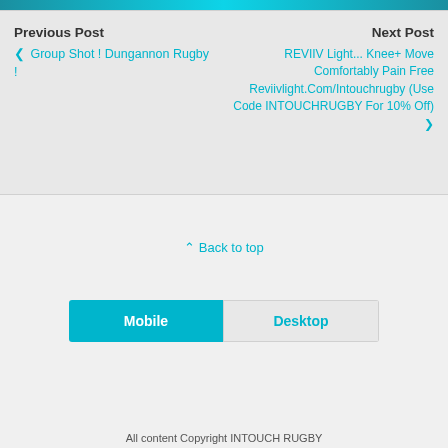[Figure (other): Top image strip banner in teal/cyan color]
Previous Post
❮ Group Shot ! Dungannon Rugby !
Next Post
REVIIV Light... Knee+ Move Comfortably Pain Free Reviivlight.Com/Intouchrugby (Use Code INTOUCHRUGBY For 10% Off) ❯
⇪ Back to top
Mobile  Desktop
All content Copyright INTOUCH RUGBY